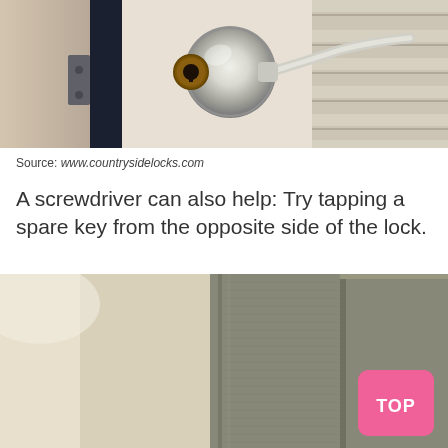[Figure (photo): Close-up photograph of a shiny chrome/silver door lever handle with a keyhole, mounted on a door frame with horizontal slats visible on the right.]
Source: www.countrysidelocks.com
A screwdriver can also help: Try tapping a spare key from the opposite side of the lock.
[Figure (photo): Close-up photograph of a grey textured door frame/edge, showing the door panel and surrounding wall area. A pink 'TOP' button is visible in the lower right corner.]